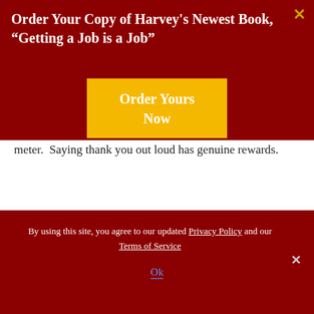Order Your Copy of Harvey's Newest Book, “Getting a Job is a Job”
[Figure (other): Yellow 'Order Yours Now' button on dark red background]
meter.  Saying thank you out loud has genuine rewards.
If a face-to-face conversation is awkward, why not go back to the best kind of mail anyone can receive:  the
By using this site, you agree to our updated Privacy Policy and our Terms of Service
Ok